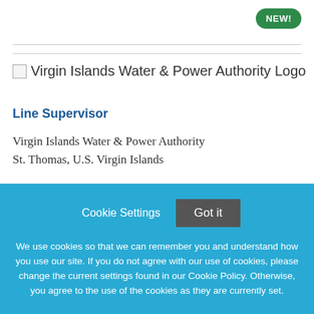[Figure (logo): NEW! badge — green rounded pill button with white bold text 'NEW!']
[Figure (logo): Virgin Islands Water & Power Authority Logo placeholder image with alt text]
Line Supervisor
Virgin Islands Water & Power Authority
St. Thomas, U.S. Virgin Islands
Cookie Settings   Got it
We use cookies so that we can remember you and understand how you use our site. If you do not agree with our use of cookies, please change the current settings found in our Cookie Policy. Otherwise, you agree to the use of the cookies as they are currently set.